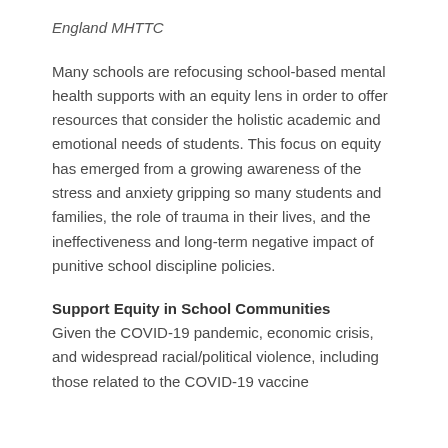England MHTTC
Many schools are refocusing school-based mental health supports with an equity lens in order to offer resources that consider the holistic academic and emotional needs of students. This focus on equity has emerged from a growing awareness of the stress and anxiety gripping so many students and families, the role of trauma in their lives, and the ineffectiveness and long-term negative impact of punitive school discipline policies.
Support Equity in School Communities
Given the COVID-19 pandemic, economic crisis, and widespread racial/political violence, including those related to the COVID-19 vaccine